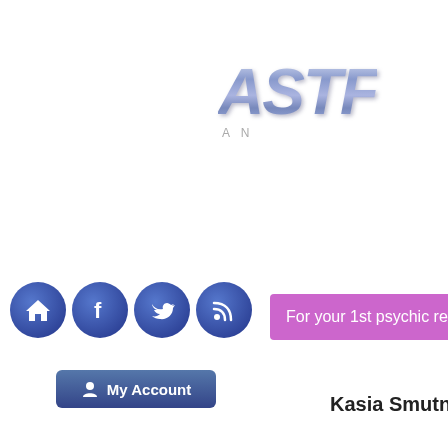[Figure (logo): Partial logo text 'ASTR' in large italic metallic blue-grey lettering with subtitle 'AN' below in grey spaced capitals]
[Figure (infographic): Four circular dark blue social media icons: home, Facebook, Twitter, RSS feed]
For your 1st psychic reading, get 1
My Account
Kasia Smutniak: A